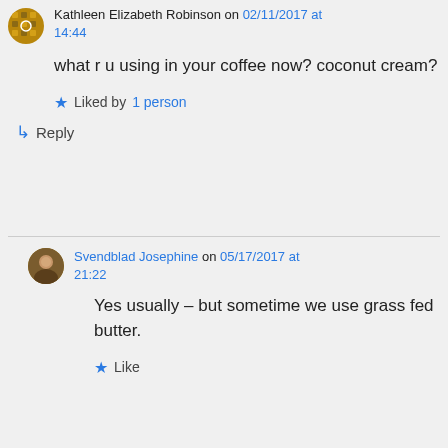Kathleen Elizabeth Robinson on 02/11/2017 at 14:44
what r u using in your coffee now? coconut cream?
Liked by 1 person
Reply
Svendblad Josephine on 05/17/2017 at 21:22
Yes usually – but sometime we use grass fed butter.
Like